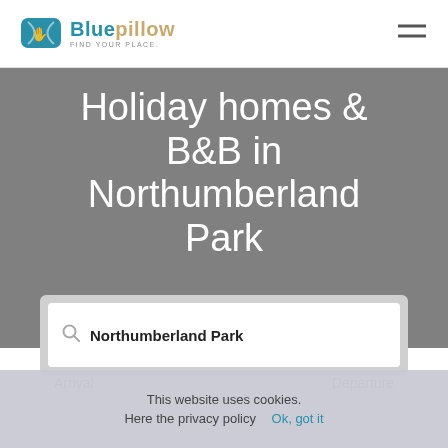[Figure (logo): Bluepillow logo with blue pillow icon and text 'Bluepillow FIND YOUR PLACE.']
Holiday homes & B&B in Northumberland Park
Northumberland Park (search box)
Arrival | Departure (partially visible)
This website uses cookies. Here the privacy policy Ok, got it